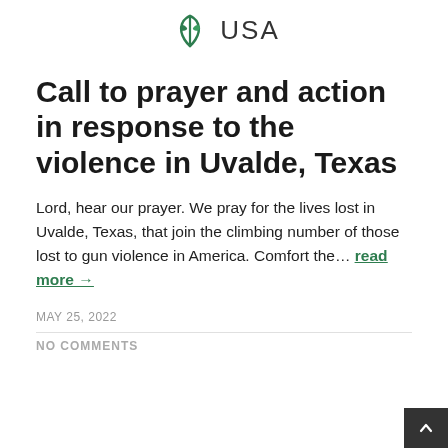USA
Call to prayer and action in response to the violence in Uvalde, Texas
Lord, hear our prayer. We pray for the lives lost in Uvalde, Texas, that join the climbing number of those lost to gun violence in America. Comfort the… read more →
MAY 25, 2022
NO COMMENTS